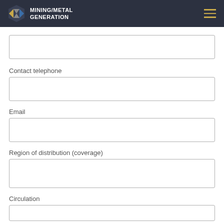MINING/METAL GENERATION
Contact telephone
Email
Region of distribution (coverage)
Circulation